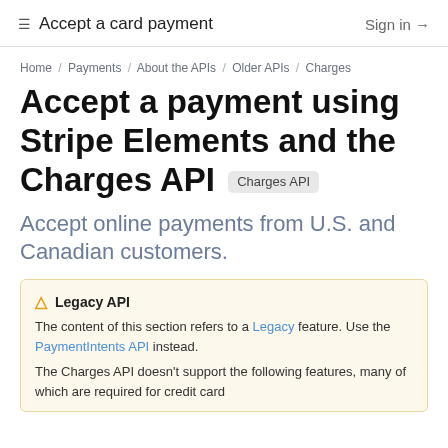≡ Accept a card payment   Sign in →
Home / Payments / About the APIs / Older APIs / Charges
Accept a payment using Stripe Elements and the Charges API  Charges API
Accept online payments from U.S. and Canadian customers.
Legacy API
The content of this section refers to a Legacy feature. Use the PaymentIntents API instead.

The Charges API doesn't support the following features, many of which are required for credit card compliance.